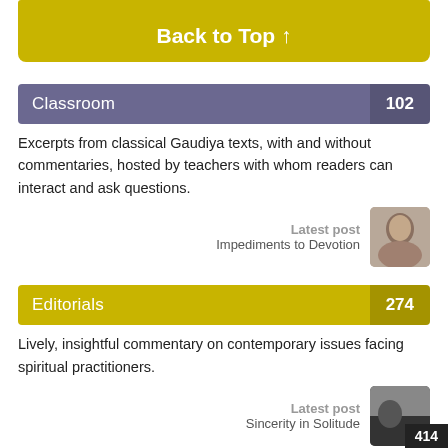Back to Top ↑
Classroom 102
Excerpts from classical Gaudiya texts, with and without commentaries, hosted by teachers with whom readers can interact and ask questions.
Latest post
Impediments to Devotion
Editorials 274
Lively, insightful commentary on contemporary issues facing spiritual practitioners.
Latest post
Sincerity in Solitude
414